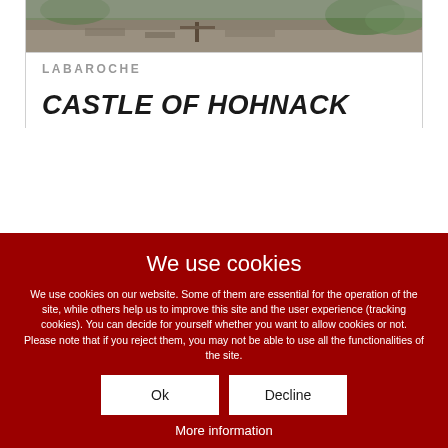[Figure (photo): Photograph of Castle of Hohnack ruins with stone walls and green vegetation]
LABAROCHE
CASTLE OF HOHNACK
We use cookies
We use cookies on our website. Some of them are essential for the operation of the site, while others help us to improve this site and the user experience (tracking cookies). You can decide for yourself whether you want to allow cookies or not. Please note that if you reject them, you may not be able to use all the functionalities of the site.
Ok
Decline
More information